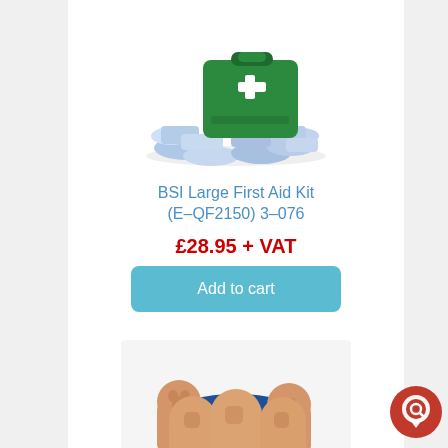[Figure (photo): BSI Large First Aid Kit product photo showing green first aid case with cross symbol and medical supplies scattered around it]
BSI Large First Aid Kit (E-QF2150) 3-076
£28.95 + VAT
[Figure (other): Add to cart button - teal/blue rounded rectangle button with white text]
[Figure (photo): Pack of 4 PractiMan adult/child manikins - beige CPR training manikins with blue carrying bag]
Pack of 4 PractiMan adult/child manikins